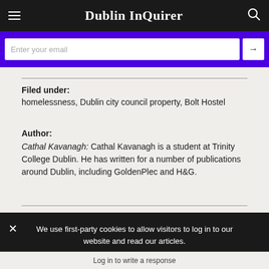Dublin InQuirer
[Figure (screenshot): Email newsletter signup input field with arrow button on purple background]
Filed under:
homelessness, Dublin city council property, Bolt Hostel
Author:
Cathal Kavanagh: Cathal Kavanagh is a student at Trinity College Dublin. He has written for a number of publications around Dublin, including GoldenPlec and H&G.
We use first-party cookies to allow visitors to log in to our website and read our articles.
I understand
Log in to write a response